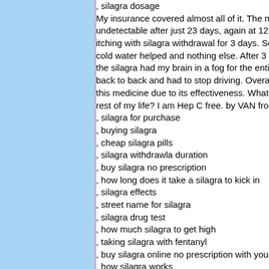, silagra dosage
My insurance covered almost all of it. The me... undetectable after just 23 days, again at 12 w... itching with silagra withdrawal for 3 days. Scr... cold water helped and nothing else. After 3 da... the silagra had my brain in a fog for the entire... back to back and had to stop driving. Overall... this medicine due to its effectiveness. What is... rest of my life? I am Hep C free. by VAN from...
, silagra for purchase
, buying silagra
, cheap silagra pills
, silagra withdrawla duration
, buy silagra no prescription
, how long does it take a silagra to kick in
, silagra effects
, street name for silagra
, silagra drug test
, how much silagra to get high
, taking silagra with fentanyl
, buy silagra online no prescription with your a...
, how silagra works
, silagra and addiction
silagra, No Prescription silagra, Buy silagra O... Prescription
, silagra withdrawl
, silagra anxiety
, what does silagra do to your body
, cardiac arrest and silagra overdose